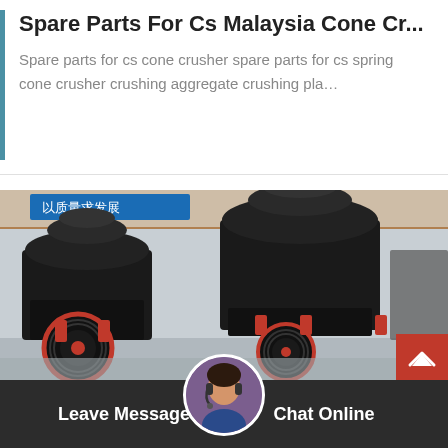Spare Parts For Cs Malaysia Cone Cr...
Spare parts for cs cone crusher spare parts for cs spring cone crusher crushing aggregate crushing pla…
[Figure (photo): Industrial cone crushers in a factory/warehouse setting. Two large black cone crusher machines with red accents and flywheel pulleys are visible on the factory floor. Chinese signage visible in background.]
Leave Message  Chat Online